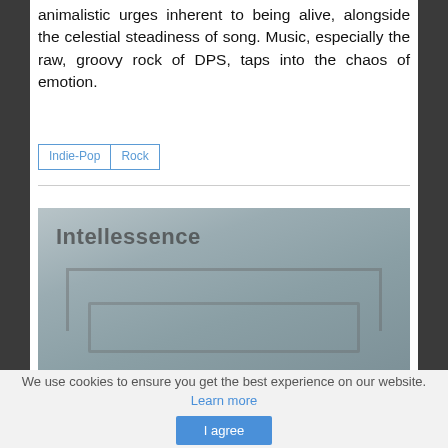animalistic urges inherent to being alive, alongside the celestial steadiness of song. Music, especially the raw, groovy rock of DPS, taps into the chaos of emotion.
Indie-Pop
Rock
[Figure (photo): A misty, grey-toned photograph or artwork showing a stage or geometric structure with the word 'Intellessence' overlaid in bold grey text at the top left.]
We use cookies to ensure you get the best experience on our website. Learn more